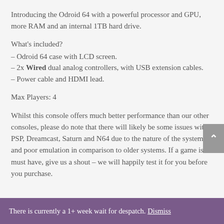Introducing the Odroid 64 with a powerful processor and GPU, more RAM and an internal 1TB hard drive.
What's included?
– Odroid 64 case with LCD screen.
– 2x Wired dual analog controllers, with USB extension cables.
– Power cable and HDMI lead.
Max Players: 4
Whilst this console offers much better performance than our other consoles, please do note that there will likely be some issues with PSP, Dreamcast, Saturn and N64 due to the nature of the systems and poor emulation in comparison to older systems. If a game is a must have, give us a shout – we will happily test it for you before you purchase.
There is currently a 1+ week wait for despatch. Dismiss